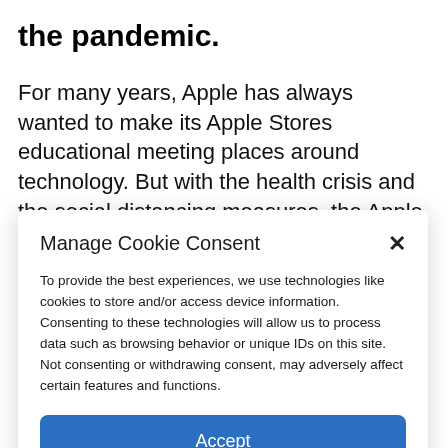the pandemic.
For many years, Apple has always wanted to make its Apple Stores educational meeting places around technology. But with the health crisis and the social distancing measures, the Apple was forced, at first, to close its stores, before reopening them, but
Manage Cookie Consent
To provide the best experiences, we use technologies like cookies to store and/or access device information. Consenting to these technologies will allow us to process data such as browsing behavior or unique IDs on this site. Not consenting or withdrawing consent, may adversely affect certain features and functions.
Accept
Cookie Policy